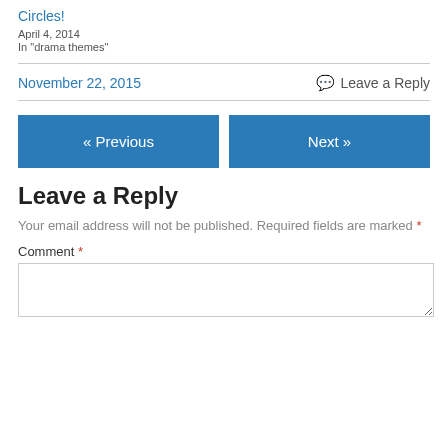Circles!
April 4, 2014
In "drama themes"
November 22, 2015
Leave a Reply
« Previous
Next »
Leave a Reply
Your email address will not be published. Required fields are marked *
Comment *